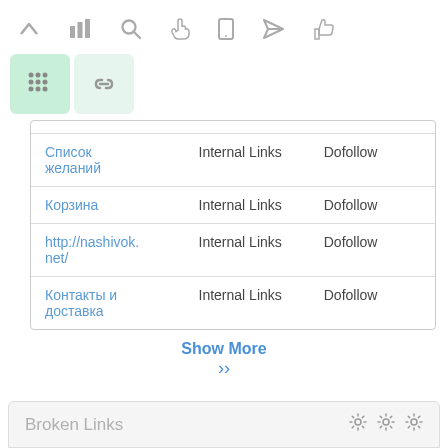[Figure (screenshot): Toolbar with navigation icons: up arrow, bar chart, search, hand/cursor, mobile, paper airplane, thumbs up]
[Figure (screenshot): Two icon buttons: green grid icon (active) and light green chain/link icon]
| Link | Type | Follow |
| --- | --- | --- |
| Список желаний | Internal Links | Dofollow |
| Корзина | Internal Links | Dofollow |
| http://nashivok.net/ | Internal Links | Dofollow |
| Контакты и доставка | Internal Links | Dofollow |
Show More
Broken Links